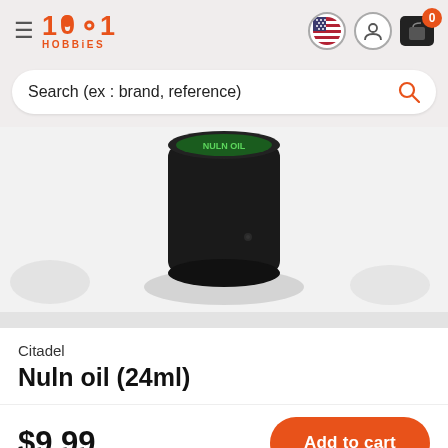1001 HOBBIES
Search (ex : brand, reference)
[Figure (photo): Product photo of a dark cylindrical paint pot (Citadel Nuln Oil 24ml) against a white/light background with faint painted miniature figures on the sides.]
Citadel
Nuln oil (24ml)
$9.99
Add to cart